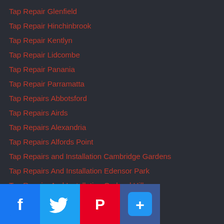Tap Repair Glenfield
Tap Repair Hinchinbrook
Tap Repair Kentlyn
Tap Repair Lidcombe
Tap Repair Panania
Tap Repair Parramatta
Tap Repairs Abbotsford
Tap Repairs Airds
Tap Repairs Alexandria
Tap Repairs Alfords Point
Tap Repairs and Installation Cambridge Gardens
Tap Repairs And Installation Edensor Park
Tap Repairs And Installation Orchard Hills
Tap Repairs And Installation Seven Hills
Tap Repairs Ashfield
Tap Repairs Athol Bay
Tap Repairs Banksmeadow
Tap Repairs Barangaroo
Tap Repairs Barangaroo